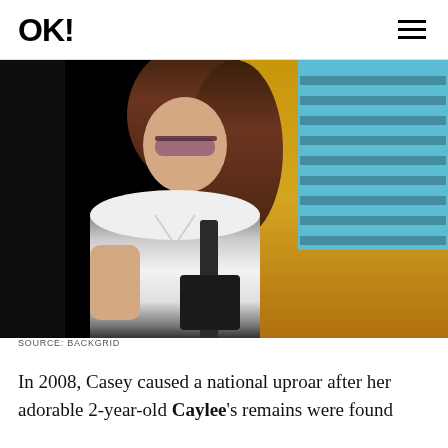OK!
[Figure (photo): Woman with long dark hair, wearing sunglasses and a white fitted t-shirt, carrying a dark bag, photographed from the side outdoors. Background shows a blue louvered shutter/vent and a yellow-gold wall.]
SOURCE: BACKGRID
In 2008, Casey caused a national uproar after her adorable 2-year-old Caylee's remains were found